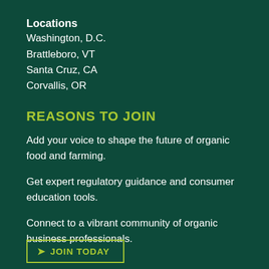Locations
Washington, D.C.
Brattleboro, VT
Santa Cruz, CA
Corvallis, OR
REASONS TO JOIN
Add your voice to shape the future of organic food and farming.
Get expert regulatory guidance and consumer education tools.
Connect to a vibrant community of organic business professionals.
JOIN TODAY